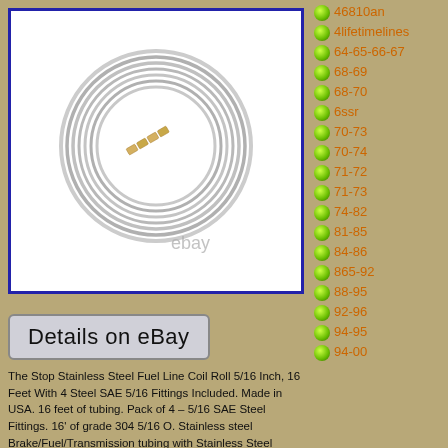[Figure (photo): Stainless steel fuel line coil roll with 4 SAE steel fittings, shown on white background with eBay watermark]
Details on eBay
The Stop Stainless Steel Fuel Line Coil Roll 5/16 Inch, 16 Feet With 4 Steel SAE 5/16 Fittings Included. Made in USA. 16 feet of tubing. Pack of 4 – 5/16 SAE Steel Fittings. 16' of grade 304 5/16 O. Stainless steel Brake/Fuel/Transmission tubing with Stainless Steel Fittings, Made in USA. Unable to choose a carrier. Any product or content can end by in the same conditions
46810an
4lifetimelines
64-65-66-67
68-69
68-70
6ssr
70-73
70-74
71-72
71-73
74-82
81-85
84-86
865-92
88-95
92-96
94-95
94-00